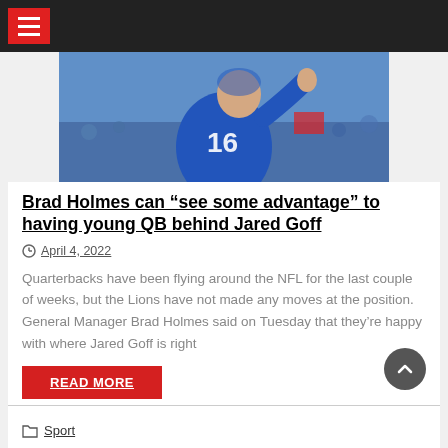Navigation menu bar with hamburger icon
[Figure (photo): Football player wearing blue jersey with number 16, raising hand, on a stadium field]
Brad Holmes can “see some advantage” to having young QB behind Jared Goff
April 4, 2022
Quarterbacks have been flying around the NFL for the last couple of weeks, but the Lions have not made any moves at the position. General Manager Brad Holmes said on Tuesday that they’re happy with where Jared Goff is right
READ MORE
Sport